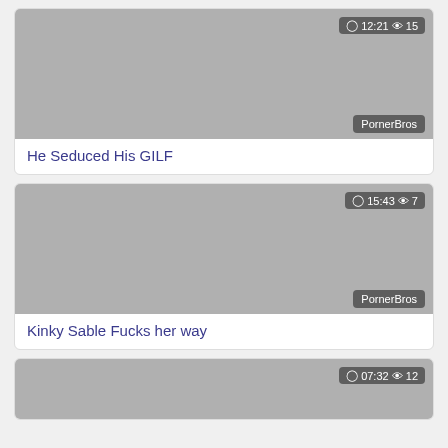[Figure (screenshot): Video thumbnail card with gray background, time badge '12:21', view count '15', source label 'PornerBros']
He Seduced His GILF
[Figure (screenshot): Video thumbnail card with gray background, time badge '15:43', view count '7', source label 'PornerBros']
Kinky Sable Fucks her way
[Figure (screenshot): Video thumbnail card with gray background, time badge '07:32', view count '12']